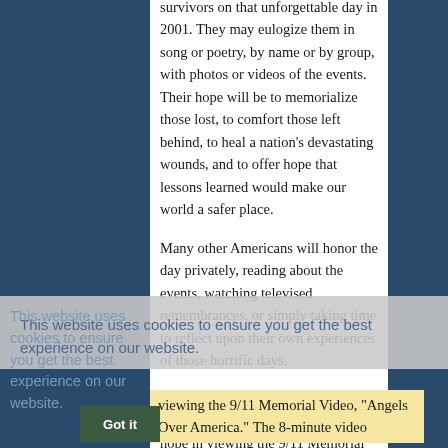survivors on that unforgettable day in 2001. They may eulogize them in song or poetry, by name or by group, with photos or videos of the events. Their hope will be to memorialize those lost, to comfort those left behind, to heal a nation's devastating wounds, and to offer hope that lessons learned would make our world a safer place.
Many other Americans will honor the day privately, reading about the events, watching televised remembrances, or simply taking time to reflect upon their own experiences of those horrific days.
Whether spending he day alone or with others, one can find comfort and hope in viewing the 9/11 Memorial Video, "Angels Over America." The 8-minute video incorporating original photographs and video from September 11 with music and poetry is a stirring tribute to 9/11 victims...
This website uses cookies to ensure you get the best experience on our website.